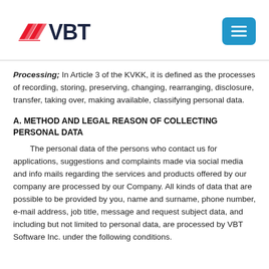[Figure (logo): VBT logo with red stylized arrow/chevron marks on the left and bold dark navy VBT text on the right]
Processing; In Article 3 of the KVKK, it is defined as the processes of recording, storing, preserving, changing, rearranging, disclosure, transfer, taking over, making available, classifying personal data.
A. METHOD AND LEGAL REASON OF COLLECTING PERSONAL DATA
The personal data of the persons who contact us for applications, suggestions and complaints made via social media and info mails regarding the services and products offered by our company are processed by our Company. All kinds of data that are possible to be provided by you, name and surname, phone number, e-mail address, job title, message and request subject data, and including but not limited to personal data, are processed by VBT Software Inc. under the following conditions.